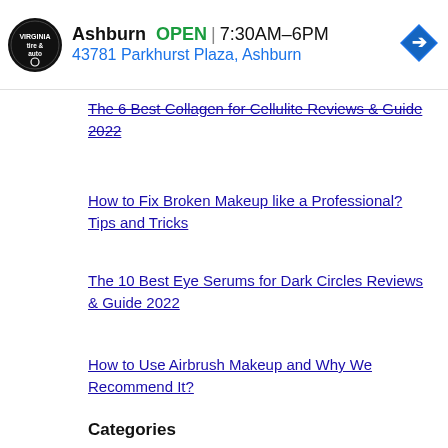[Figure (infographic): Advertisement banner for Ashburn tire & auto shop showing logo, OPEN status, hours 7:30AM-6PM, address 43781 Parkhurst Plaza Ashburn, and navigation arrow icon]
The 6 Best Collagen for Cellulite Reviews & Guide 2022
How to Fix Broken Makeup like a Professional? Tips and Tricks
The 10 Best Eye Serums for Dark Circles Reviews & Guide 2022
How to Use Airbrush Makeup and Why We Recommend It?
Categories